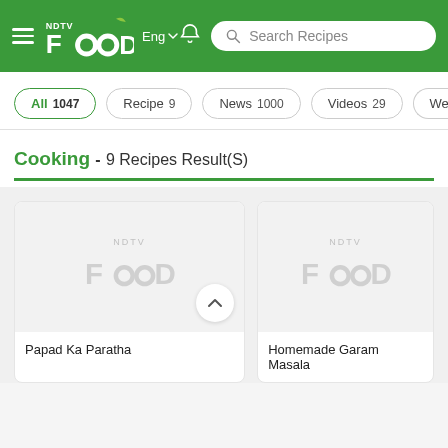[Figure (screenshot): NDTV Food website header with hamburger menu, NDTV Food logo, Eng language selector, bell notification icon, and Search Recipes search bar on green background]
All 1047
Recipe 9
News 1000
Videos 29
Web Sto
Cooking - 9 Recipes Result(S)
[Figure (photo): Recipe card image placeholder with NDTV Food watermark logo for Papad Ka Paratha, with scroll-up button]
Papad Ka Paratha
[Figure (photo): Recipe card image placeholder with NDTV Food watermark logo for Homemade Garam Masala]
Homemade Garam Masala